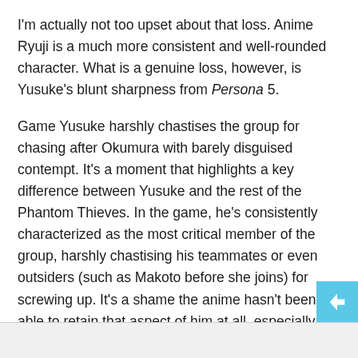I'm actually not too upset about that loss. Anime Ryuji is a much more consistent and well-rounded character. What is a genuine loss, however, is Yusuke's blunt sharpness from Persona 5.
Game Yusuke harshly chastises the group for chasing after Okumura with barely disguised contempt. It's a moment that highlights a key difference between Yusuke and the rest of the Phantom Thieves. In the game, he's consistently characterized as the most critical member of the group, harshly chastising his teammates or even outsiders (such as Makoto before she joins) for screwing up. It's a shame the anime hasn't been able to retain that aspect of him at all, especially during a pivotal moment like this. As it stands, this scene is still an enjoyable moment since it's appropriately tense, but I can't help feeling like it was a missed opportunity here.